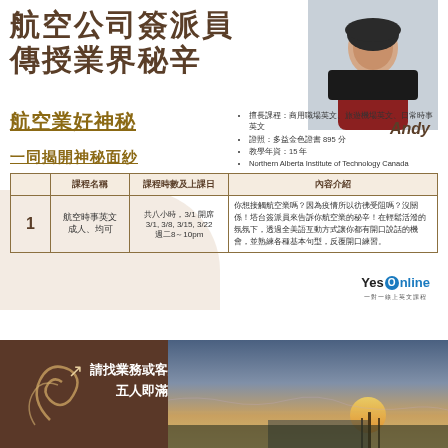航空公司簽派員傳授業界秘辛
航空業好神秘
一同揭開神秘面紗
Andy
擅長課程：商用職場英文、旅遊機場英文、日常時事英文
證照：多益金色證書 895 分
教學年資：15 年
Northern Alberta Institute of Technology Canada
|  | 課程名稱 | 課程時數及上課日 | 內容介紹 |
| --- | --- | --- | --- |
| 1 | 航空時事英文 成人、均可 | 共八小時，3/1 開席
3/1, 3/8, 3/15, 3/22
週二8～10pm | 你想接觸航空業嗎？因為疫情所以彷彿受阻嗎？沒關係！塔台簽派員來告訴你航空業的秘辛！在輕鬆活潑的氛氛下，透過全美語互動方式讓你都有開口說話的機會，並熟練各種基本句型，反覆開口練習。 |
[Figure (logo): YesOnline logo - 一對一線上英文課程]
請找業務或客服報名
五人即滿班